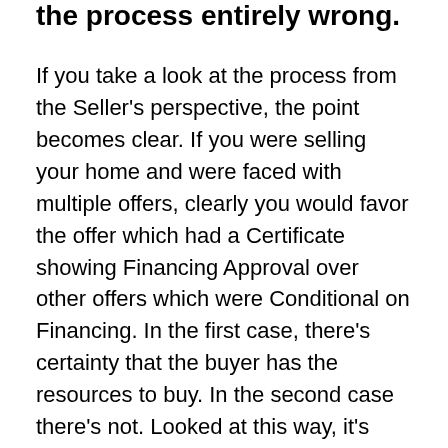the process entirely wrong.
If you take a look at the process from the Seller's perspective, the point becomes clear. If you were selling your home and were faced with multiple offers, clearly you would favor the offer which had a Certificate showing Financing Approval over other offers which were Conditional on Financing. In the first case, there's certainty that the buyer has the resources to buy. In the second case there's not. Looked at this way, it's difficult to understand why so many buyers fail to start looking for financing until after they've found a home. Regardless of whether most people will eventually be approved, the timing of having a